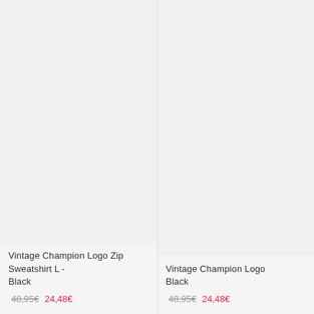[Figure (photo): Product image area for Vintage Champion Logo Zip Sweatshirt L - Black (left card), blank/empty light gray background]
Vintage Champion Logo Zip Sweatshirt L - Black
48,95€  24,48€
[Figure (photo): Product image area for Vintage Champion Logo (right card), blank/empty light gray background]
Vintage Champion Logo Black
48,95€  24,48€